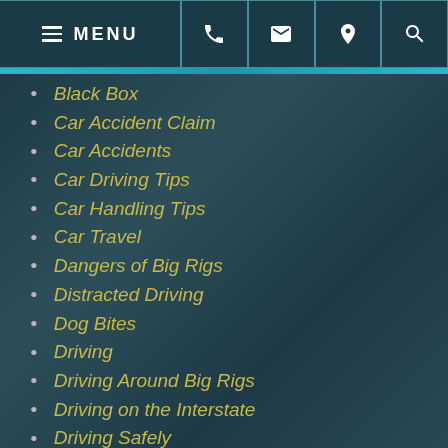MENU navigation bar with phone, email, location, search icons
Black Box
Car Accident Claim
Car Accidents
Car Driving Tips
Car Handling Tips
Car Travel
Dangers of Big Rigs
Distracted Driving
Dog Bites
Driving
Driving Around Big Rigs
Driving on the Interstate
Driving Safely
Driving Safety
Driving Tips
Fear of Driving
Fear of Driving
Filing a Workers' Compensation Claim
Generator Use After a Hurricane
Golf cart insurance